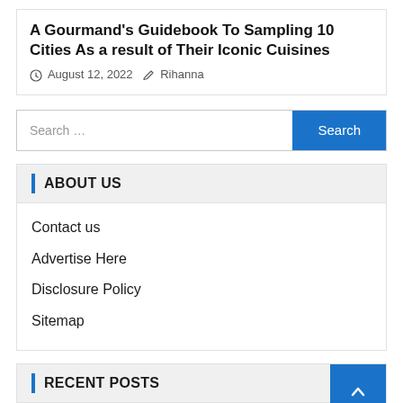A Gourmand's Guidebook To Sampling 10 Cities As a result of Their Iconic Cuisines
August 12, 2022  Rihanna
Search ...
ABOUT US
Contact us
Advertise Here
Disclosure Policy
Sitemap
RECENT POSTS
The supper club: Members sample earth cuisines
Walking Towards D...